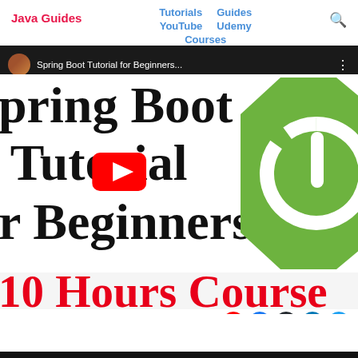Java Guides | Tutorials | Guides | YouTube | Udemy | Courses
[Figure (screenshot): YouTube video thumbnail for Spring Boot Tutorial for Beginners 10 Hours Course, showing large bold text 'Spring Boot Tutorial for Beginners' with a green Spring Boot logo on the right, a YouTube play button in the center, and red text '10 Hours Course' at the bottom. A YouTube topbar shows 'Spring Boot Tutorial for Beginners...' and social follow icons (YouTube, Facebook, GitHub, LinkedIn, Twitter) appear below.]